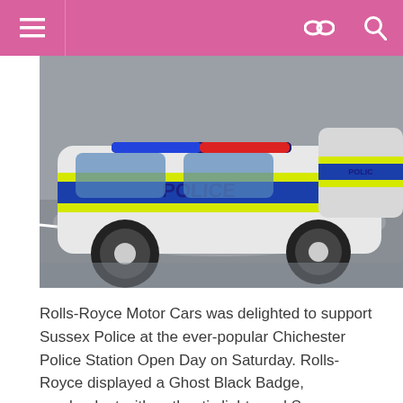≡  ∞  🔍
[Figure (photo): Two white UK police cars with blue and yellow checkered markings and 'POLICE' text in blue on the door, parked on a grey road surface. High-visibility yellow-green stripes visible. One car is shown from the side prominently.]
Rolls-Royce Motor Cars was delighted to support Sussex Police at the ever-popular Chichester Police Station Open Day on Saturday. Rolls-Royce displayed a Ghost Black Badge, resplendent with authentic lights and Sussex Police decals.
The car is finished in Andalusian White, with the interior in Black and Tan contrast leather and the fascia in Black Badge Technical Fibre. The Rolls-Royce 'police car' drew huge crowds, including new Chichester MP, Gillian Keegan, who paid the event a visit. The accompanying team from Rolls-Royce collected donations for Chestnut Tree House,